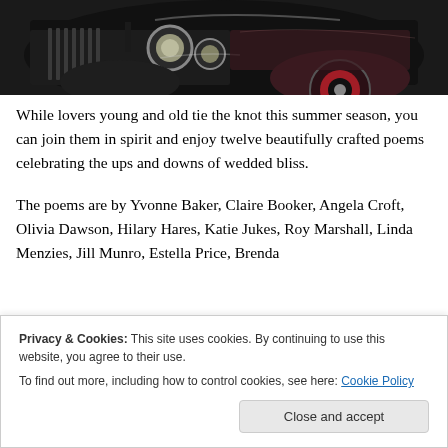[Figure (photo): Close-up photo of a vintage/classic car, dark colored body with chrome headlamps and red-accented wheel, shot from front-side angle.]
While lovers young and old tie the knot this summer season, you can join them in spirit and enjoy twelve beautifully crafted poems celebrating the ups and downs of wedded bliss.
The poems are by Yvonne Baker, Claire Booker, Angela Croft, Olivia Dawson, Hilary Hares, Katie Jukes, Roy Marshall, Linda Menzies, Jill Munro, Estella Price, Brenda...
Privacy & Cookies: This site uses cookies. By continuing to use this website, you agree to their use.
To find out more, including how to control cookies, see here: Cookie Policy